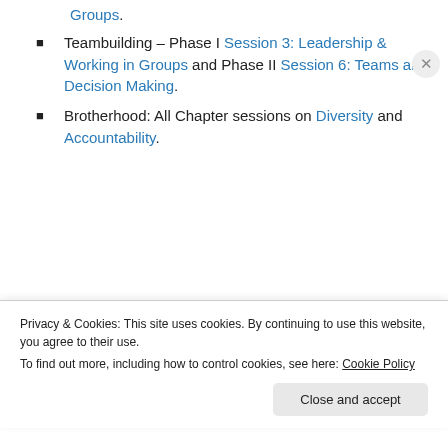Groups.
Teambuilding – Phase I Session 3: Leadership & Working in Groups and Phase II Session 6: Teams and Decision Making.
Brotherhood: All Chapter sessions on Diversity and Accountability.
[Figure (screenshot): Advertisement banner for an eCommerce platform with purple background reading 'The most customizable eCommerce platform', a shopping cart icon, a 'Start a new store' button, and a font panel on the right.]
Privacy & Cookies: This site uses cookies. By continuing to use this website, you agree to their use.
To find out more, including how to control cookies, see here: Cookie Policy
Close and accept